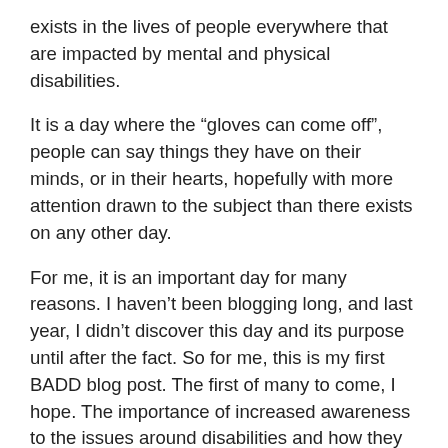exists in the lives of people everywhere that are impacted by mental and physical disabilities.
It is a day where the “gloves can come off”, people can say things they have on their minds, or in their hearts, hopefully with more attention drawn to the subject than there exists on any other day.
For me, it is an important day for many reasons. I haven’t been blogging long, and last year, I didn’t discover this day and its purpose until after the fact. So for me, this is my first BADD blog post. The first of many to come, I hope. The importance of increased awareness to the issues around disabilities and how they impact lives of people every day cannot be minimized, and I hope through this post, that importance is expressed in a way that makes a difference. Continue reading →